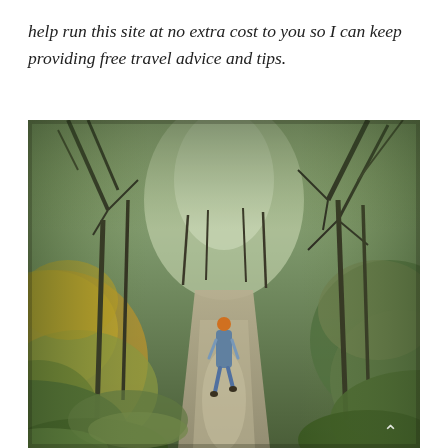help run this site at no extra cost to you so I can keep providing free travel advice and tips.
[Figure (photo): A person with an orange hat walking away from the camera along a narrow gravel path through a lush, green and autumnal forest with overhanging branches and golden foliage.]